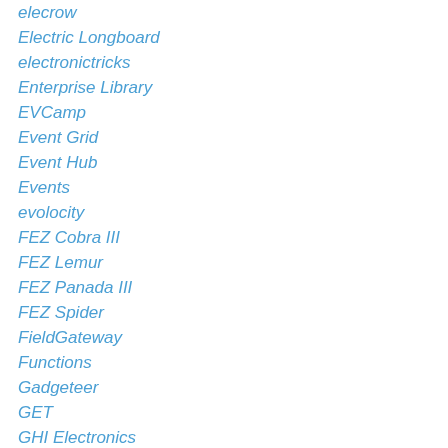elecrow
Electric Longboard
electronictricks
Enterprise Library
EVCamp
Event Grid
Event Hub
Events
evolocity
FEZ Cobra III
FEZ Lemur
FEZ Panada III
FEZ Spider
FieldGateway
Functions
Gadgeteer
GET
GHI Electronics
GIS
GitHub